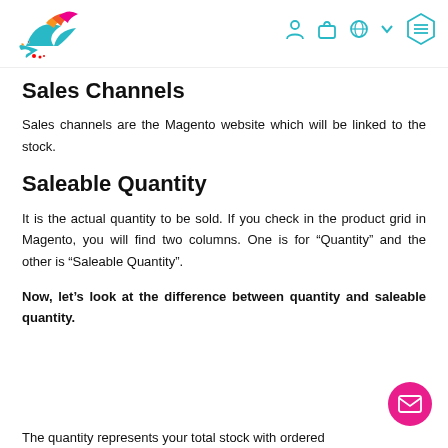[Logo and navigation icons]
Sales Channels
Sales channels are the Magento website which will be linked to the stock.
Saleable Quantity
It is the actual quantity to be sold. If you check in the product grid in Magento, you will find two columns. One is for “Quantity” and the other is “Saleable Quantity”.
Now, let’s look at the difference between quantity and saleable quantity.
The quantity represents your total stock with ordered